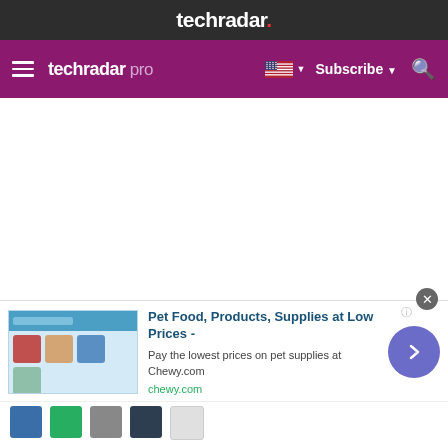techradar.
techradar pro — Subscribe
[Figure (screenshot): White empty content area of TechRadar Pro website]
[Figure (infographic): Advertisement banner: Pet Food, Products, Supplies at Low Prices - Chewy.com. Shows product images and a forward arrow button.]